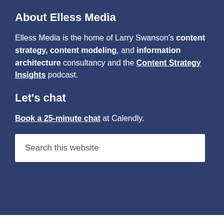About Elless Media
Elless Media is the home of Larry Swanson's content strategy, content modeling, and information architecture consultancy and the Content Strategy Insights podcast.
Let's chat
Book a 25-minute chat at Calendly.
Search this website